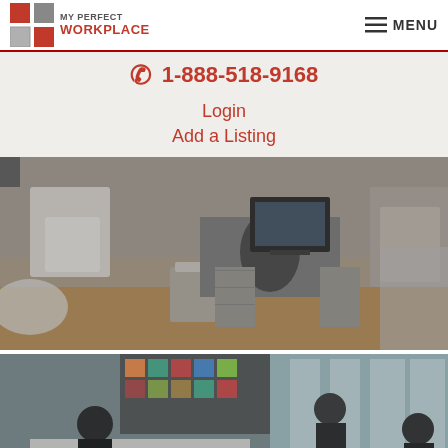MY PERFECT WORKPLACE — MENU
1-888-518-9168
Login
Add a Listing
[Figure (photo): Office workspace with cubicles, chairs, file cabinets and a computer monitor on a desk with wood flooring]
[Figure (photo): Open coworking space with people working at tables, colorful shelving, and large windows]